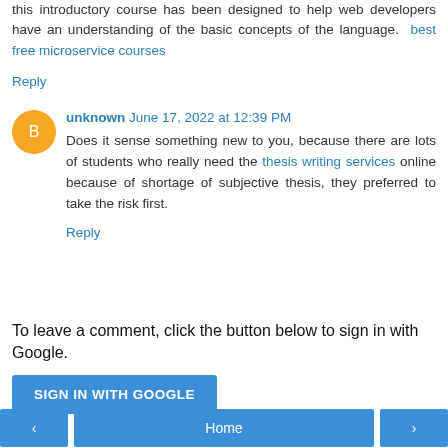this introductory course has been designed to help web developers have an understanding of the basic concepts of the language.  best free microservice courses
Reply
unknown  June 17, 2022 at 12:39 PM
Does it sense something new to you, because there are lots of students who really need the thesis writing services online because of shortage of subjective thesis, they preferred to take the risk first.
Reply
To leave a comment, click the button below to sign in with Google.
SIGN IN WITH GOOGLE
‹  Home  ›